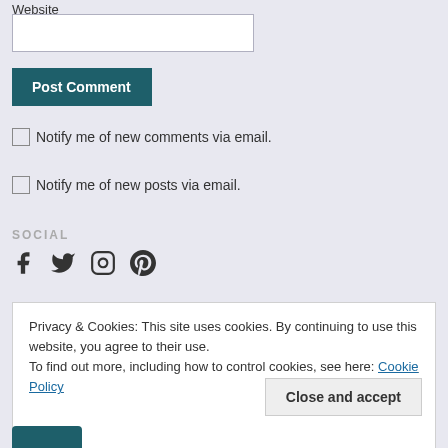Website
[Figure (screenshot): Website text input field (empty white input box)]
[Figure (screenshot): Post Comment button, dark teal background with white bold text]
Notify me of new comments via email.
Notify me of new posts via email.
SOCIAL
[Figure (infographic): Social media icons: Facebook, Twitter, Instagram, Pinterest]
Privacy & Cookies: This site uses cookies. By continuing to use this website, you agree to their use.
To find out more, including how to control cookies, see here: Cookie Policy
[Figure (screenshot): Close and accept button (light gray)]